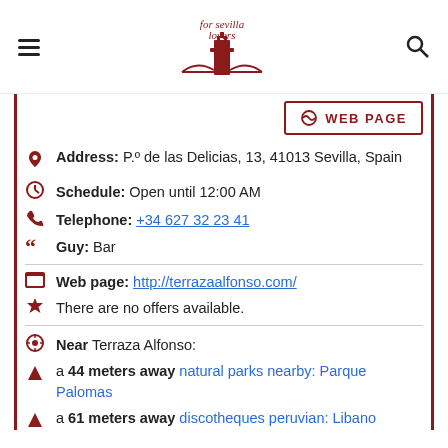for sevilla lovers
WEB PAGE
Address: P.º de las Delicias, 13, 41013 Sevilla, Spain
Schedule: Open until 12:00 AM
Telephone: +34 627 32 23 41
Guy: Bar
Web page: http://terrazaalfonso.com/
There are no offers available.
Near Terraza Alfonso:
a 44 meters away natural parks nearby: Parque Palomas
a 61 meters away discotheques peruvian: Libano